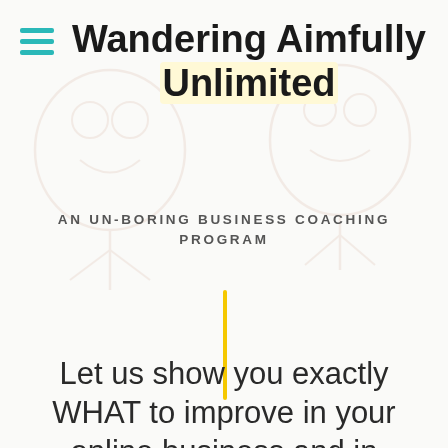Wandering Aimfully Unlimited
AN UN-BORING BUSINESS COACHING PROGRAM
[Figure (other): A vertical yellow divider line]
Let us show you exactly WHAT to improve in your online business and in